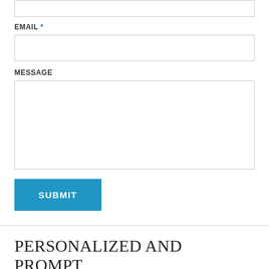[Figure (screenshot): Top of a web contact form showing a partially visible text input field at the top edge of the page.]
EMAIL *
[Figure (screenshot): Email input field (empty text box).]
MESSAGE
[Figure (screenshot): Message textarea field (empty, large text box).]
[Figure (screenshot): SUBMIT button (blue rectangle with white bold uppercase text).]
PERSONALIZED AND PROMPT ATTENTION